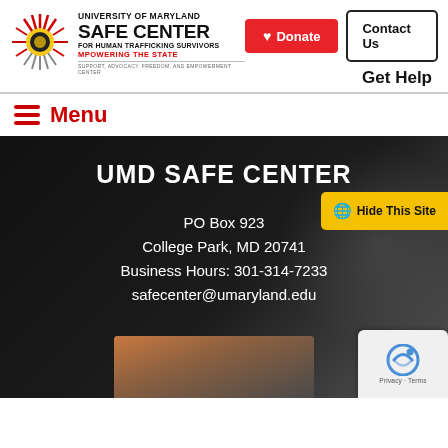[Figure (logo): University of Maryland SAFE CENTER for Human Trafficking Survivors logo with starburst graphic]
UNIVERSITY OF MARYLAND SAFE CENTER FOR HUMAN TRAFFICKING SURVIVORS MPOWERING THE STATE SUPPORT, ADVOCACY, FREEDOM, AND EMPOWERMENT CENTER
Donate
Contact Us
Get Help
Menu
UMD SAFE CENTER
Hide This Site
PO Box 923
College Park, MD 20741
Business Hours: 301-314-7233
safecenter@umaryland.edu
[Figure (photo): Photo of hands joined together in a team gesture, warm lighting]